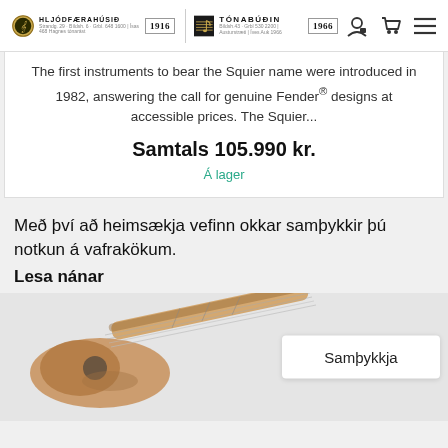Hljóðfærahúsið | Tónabúðin
The first instruments to bear the Squier name were introduced in 1982, answering the call for genuine Fender® designs at accessible prices. The Squier...
Samtals 105.990 kr.
Á lager
Með því að heimsækja vefinn okkar samþykkir þú notkun á vafrakökum.
Lesa nánar
[Figure (photo): Bass guitar (Squier) shown partially on a light grey background]
Samþykkja